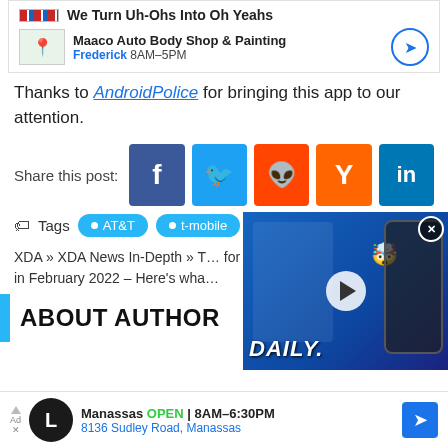[Figure (screenshot): Advertisement banner for Maaco Auto Body Shop showing logo, 'We Turn Uh-Ohs Into Oh Yeahs' tagline, map thumbnail, Frederick location, 8AM-5PM hours, and navigation arrow button]
Thanks to AndroidPolice for bringing this app to our attention.
Share this post:
[Figure (infographic): Social media share buttons: Facebook (f), Twitter (bird), Reddit (alien), Hacker News (Y), LinkedIn (in)]
Tags  AT&T  t-mobile
XDA » XDA News In-Depth » T... for all phones starting January ... in February 2022 – Here's wha...
ABOUT AUTHOR
[Figure (screenshot): Video thumbnail overlay showing a person holding phones, emoji, play button, and 'DAILY.' text on blue background, with close (X) button]
[Figure (screenshot): Advertisement banner for a business in Manassas, OPEN 8AM-6:30PM, address 8136 Sudley Road, Manassas, with navigation arrow]